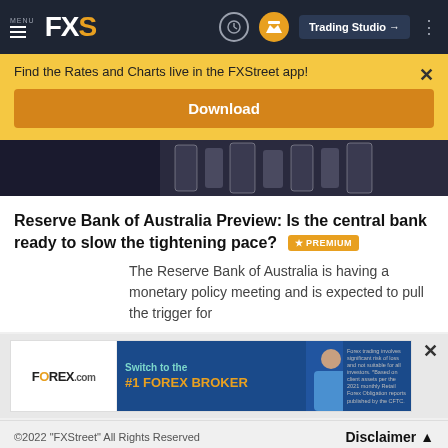MENU FXS — Trading Studio
Find the Rates and Charts live in the FXStreet app!
Download
[Figure (photo): Partial hero image showing dark background with financial/trading visual elements]
Reserve Bank of Australia Preview: Is the central bank ready to slow the tightening pace? PREMIUM
The Reserve Bank of Australia is having a monetary policy meeting and is expected to pull the trigger for
[Figure (other): FOREX.com advertisement banner: Switch to the #1 FOREX BROKER]
©2022 "FXStreet" All Rights Reserved   Disclaimer ▲